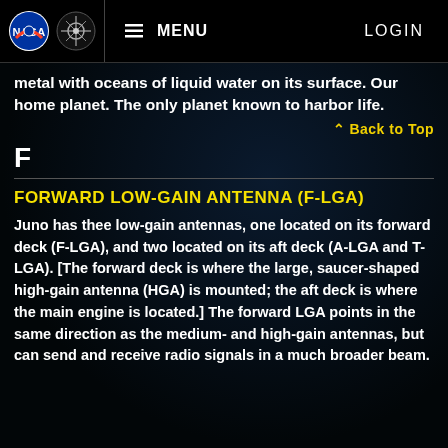NASA MENU LOGIN
metal with oceans of liquid water on its surface. Our home planet. The only planet known to harbor life.
Back to Top
F
FORWARD LOW-GAIN ANTENNA (F-LGA)
Juno has thee low-gain antennas, one located on its forward deck (F-LGA), and two located on its aft deck (A-LGA and T-LGA). [The forward deck is where the large, saucer-shaped high-gain antenna (HGA) is mounted; the aft deck is where the main engine is located.] The forward LGA points in the same direction as the medium- and high-gain antennas, but can send and receive radio signals in a much broader beam.